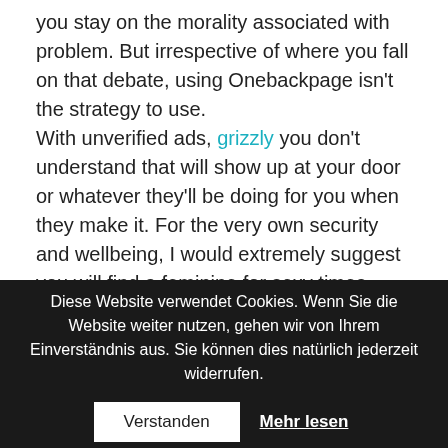you stay on the morality associated with problem. But irrespective of where you fall on that debate, using Onebackpage isn't the strategy to use.

With unverified ads, grizzly you don't understand that will show up at your door or whatever they'll be doing for you when they make it. For the very own security and wellbeing, I would extremely suggest you will find a feminine for sexy times anywhere but Onebackpage.
Diese Website verwendet Cookies. Wenn Sie die Website weiter nutzen, gehen wir von Ihrem Einverständnis aus. Sie können dies natürlich jederzeit widerrufen.
Verstanden  Mehr lesen